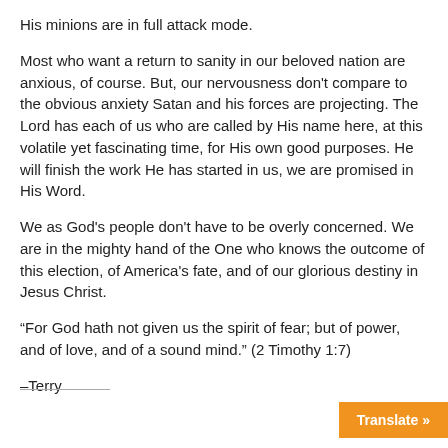His minions are in full attack mode.
Most who want a return to sanity in our beloved nation are anxious, of course. But, our nervousness don't compare to the obvious anxiety Satan and his forces are projecting. The Lord has each of us who are called by His name here, at this volatile yet fascinating time, for His own good purposes. He will finish the work He has started in us, we are promised in His Word.
We as God's people don't have to be overly concerned. We are in the mighty hand of the One who knows the outcome of this election, of America's fate, and of our glorious destiny in Jesus Christ.
“For God hath not given us the spirit of fear; but of power, and of love, and of a sound mind.” (2 Timothy 1:7)
–Terry